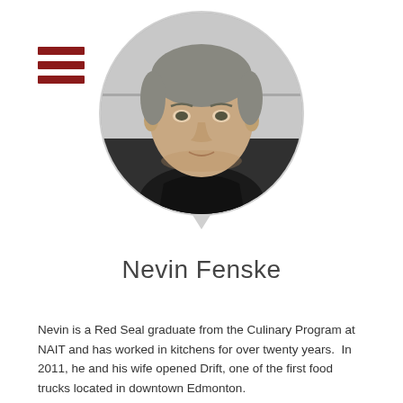[Figure (illustration): Hamburger menu icon with three dark red horizontal bars]
[Figure (photo): Black and white circular portrait photo of Nevin Fenske, a man with short hair wearing a dark chef's jacket, smiling slightly]
Nevin Fenske
Nevin is a Red Seal graduate from the Culinary Program at NAIT and has worked in kitchens for over twenty years.  In 2011, he and his wife opened Drift, one of the first food trucks located in downtown Edmonton.